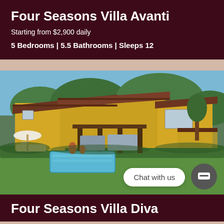Four Seasons Villa Avanti
Starting from $2,900 daily
5 Bedrooms | 5.5 Bathrooms | Sleeps 12
[Figure (photo): Aerial view of a yellow Mediterranean-style villa with brown tile roof, private swimming pool, outdoor lounge area with furniture, surrounded by tropical greenery and garden hedges.]
Chat with us
Four Seasons Villa Diva